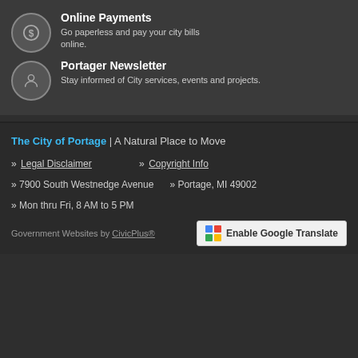Online Payments
Go paperless and pay your city bills online.
Portager Newsletter
Stay informed of City services, events and projects.
The City of Portage | A Natural Place to Move
» Legal Disclaimer   » Copyright Info
» 7900 South Westnedge Avenue   » Portage, MI 49002
» Mon thru Fri, 8 AM to 5 PM
Government Websites by CivicPlus®   Enable Google Translate